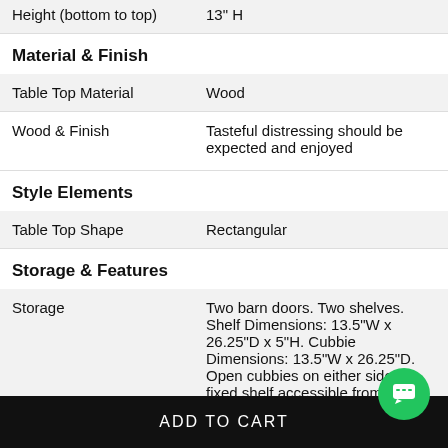| Attribute | Value |
| --- | --- |
| Height (bottom to top) | 13" H |
| Material & Finish |  |
| Table Top Material | Wood |
| Wood & Finish | Tasteful distressing should be expected and enjoyed |
| Style Elements |  |
| Table Top Shape | Rectangular |
| Storage & Features |  |
| Storage | Two barn doors. Two shelves. Shelf Dimensions: 13.5"W x 26.25"D x 5"H. Cubbie Dimensions: 13.5"W x 26.25"D. Open cubbies on either side of fixed shelf accessible from both sides. |
| # of Doors | 2 |
ADD TO CART